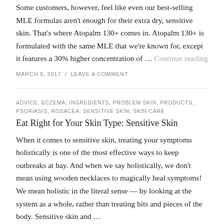Some customers, however, feel like even our best-selling MLE formulas aren't enough for their extra dry, sensitive skin. That's where Atopalm 130+ comes in. Atopalm 130+ is formulated with the same MLE that we're known for, except it features a 30% higher concentration of … Continue reading
MARCH 9, 2017  /  LEAVE A COMMENT
ADVICE, ECZEMA, INGREDIENTS, PROBLEM SKIN, PRODUCTS, PSORIASIS, ROSACEA, SENSITIVE SKIN, SKIN CARE
Eat Right for Your Skin Type: Sensitive Skin
When it comes to sensitive skin, treating your symptoms holistically is one of the most effective ways to keep outbreaks at bay. And when we say holistically, we don't mean using wooden necklaces to magically heal symptoms! We mean holistic in the literal sense — by looking at the system as a whole, rather than treating bits and pieces of the body. Sensitive skin and …